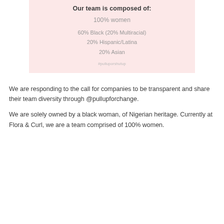Our team is composed of:
100% women
60% Black (20% Multiracial)
20% Hispanic/Latina
20% Asian
#pulluporshutup
We are responding to the call for companies to be transparent and share their team diversity through @pullupforchange.
We are solely owned by a black woman, of Nigerian heritage. Currently at Flora & Curl, we are a team comprised of 100% women.